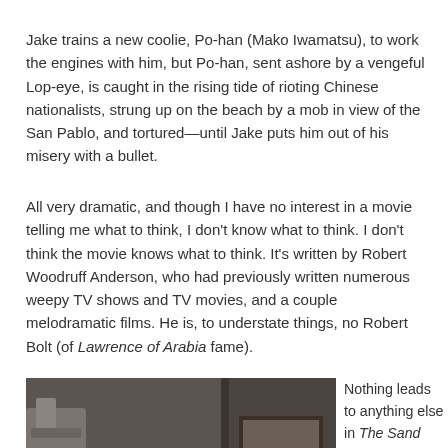Jake trains a new coolie, Po-han (Mako Iwamatsu), to work the engines with him, but Po-han, sent ashore by a vengeful Lop-eye, is caught in the rising tide of rioting Chinese nationalists, strung up on the beach by a mob in view of the San Pablo, and tortured—until Jake puts him out of his misery with a bullet.
All very dramatic, and though I have no interest in a movie telling me what to think, I don't know what to think. I don't think the movie knows what to think. It's written by Robert Woodruff Anderson, who had previously written numerous weepy TV shows and TV movies, and a couple melodramatic films. He is, to understate things, no Robert Bolt (of Lawrence of Arabia fame).
[Figure (photo): A man in a sailor's uniform and white naval cap, appearing to be a still from a movie, shot in muted tones.]
Nothing leads to anything else in The Sand Pebbles. There's no thread of a story to follow. Jake has no desires or needs or fears. Intermission comes after Po-